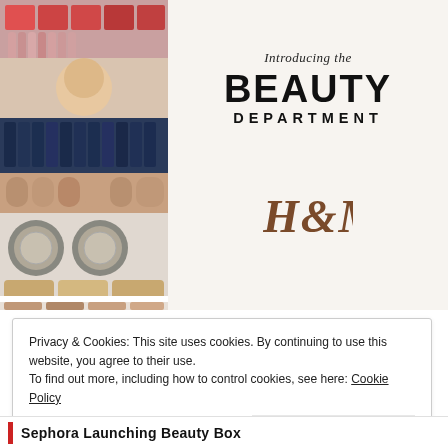[Figure (photo): Collage of H&M beauty department products including lipsticks, makeup palettes, compacts, and cosmetics on shelves]
Introducing the BEAUTY DEPARTMENT
[Figure (logo): H&M logo in brown italic script]
Privacy & Cookies: This site uses cookies. By continuing to use this website, you agree to their use.
To find out more, including how to control cookies, see here: Cookie Policy
Close and accept
Sephora Launching Beauty Box